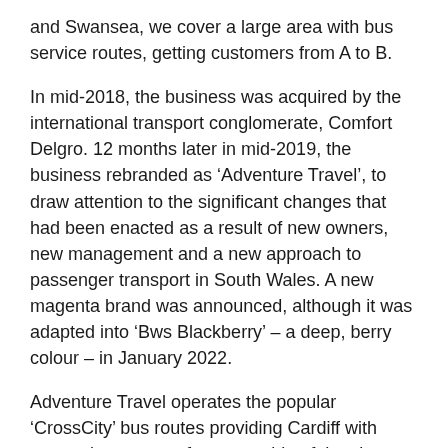and Swansea, we cover a large area with bus service routes, getting customers from A to B.
In mid-2018, the business was acquired by the international transport conglomerate, Comfort Delgro. 12 months later in mid-2019, the business rebranded as ‘Adventure Travel’, to draw attention to the significant changes that had been enacted as a result of new owners, new management and a new approach to passenger transport in South Wales. A new magenta brand was announced, although it was adapted into ‘Bws Blackberry’ – a deep, berry colour – in January 2022.
Adventure Travel operates the popular ‘CrossCity’ bus routes providing Cardiff with routes that operate from one side of the city to the other, as well as urban and rural services across many parts of South Wales. The business also has a private hire division that trades as ‘Adventure Coachlines’. A variety of vehicle specifications – including coaches and high capacity double deckers – provide privately hired passenger transport for a variety of purposes including